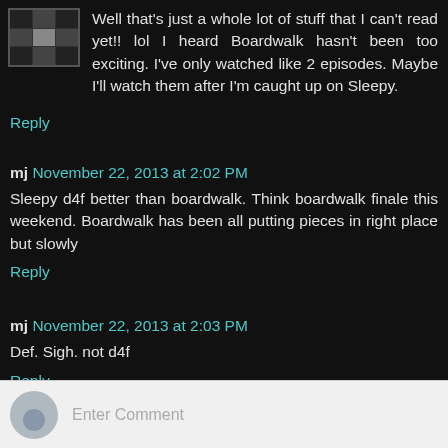Well that's just a whole lot of stuff that I can't read yet!! lol I heard Boardwalk hasn't been too exciting. I've only watched like 2 episodes. Maybe I'll watch them after I'm caught up on Sleepy.
Reply
mj November 22, 2013 at 2:02 PM
Sleepy d4f better than boardwalk. Think boardwalk finale this weekend. Boardwalk has been all putting pieces in right place but slowly
Reply
mj November 22, 2013 at 2:03 PM
Def. Sigh. not d4f
Reply
Enter Comment